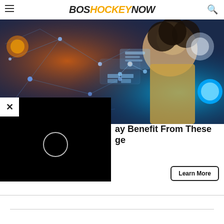BOSHOCKEYNOW
[Figure (photo): Woman in gold top interacting with glowing digital technology interface, network lines and nodes in blue/purple tones]
[Figure (other): Black video popup overlay with close X button and circular loading/play indicator]
S... ay Benefit From These R... ge
Learn More